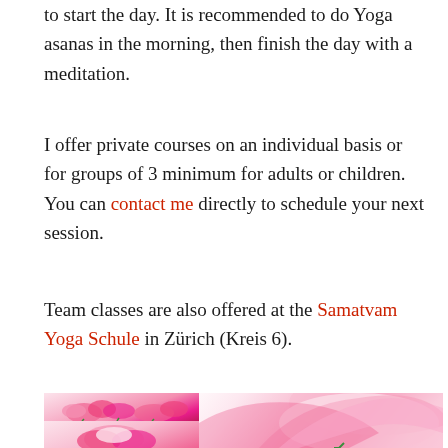to start the day. It is recommended to do Yoga asanas in the morning, then finish the day with a meditation.
I offer private courses on an individual basis or for groups of 3 minimum for adults or children. You can contact me directly to schedule your next session.
Team classes are also offered at the Samatvam Yoga Schule in Zürich (Kreis 6).
[Figure (photo): Three photographs of pink lotus flowers: top-left shows multiple lotus flowers on stems, bottom-left shows a close-up lotus bud with pink petals, large right image shows a detailed close-up of a pink and white lotus flower petal.]